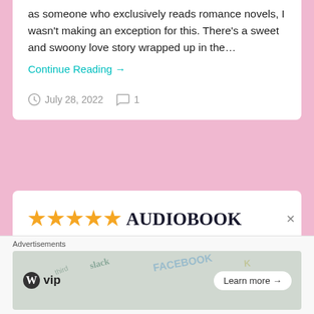as someone who exclusively reads romance novels, I wasn't making an exception for this. There's a sweet and swoony love story wrapped up in the…
Continue Reading →
July 28, 2022  1
★★★★★ AUDIOBOOK REVIEW: Faking Ms. Right by Claire Kingsley 🎧
[Figure (screenshot): WordPress VIP advertisement banner with colorful background cards and a Learn more button]
Advertisements